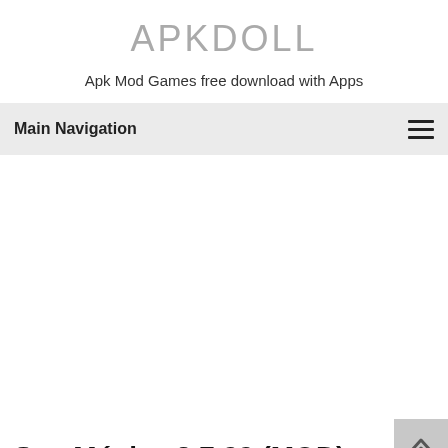APKDOLL
Apk Mod Games free download with Apps
Main Navigation
Sua Música 3.7.22 (MOD)